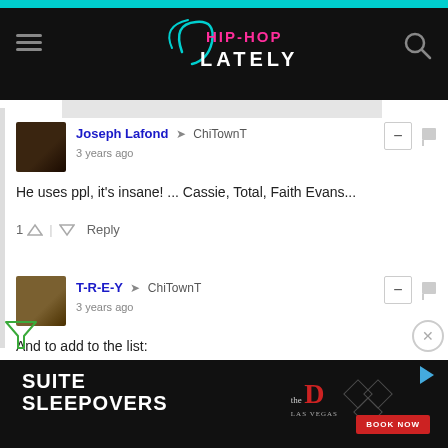Hip-Hop Lately
Joseph Lafond → ChiTownT
3 years ago
He uses ppl, it's insane! ... Cassie, Total, Faith Evans...
T-R-E-Y → ChiTownT
3 years ago
And to add to the list:
8-Ball & MJG
Yung Joc
Gorilla Zoe
Boyz N Da Hood
[Figure (screenshot): Advertisement banner for Suite Sleepovers at the D Las Vegas with Book Now button]